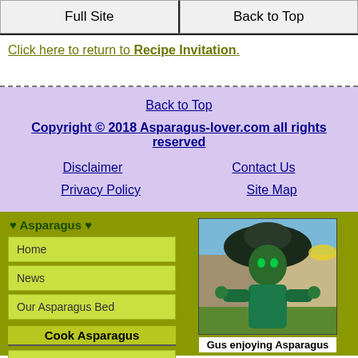Full Site | Back to Top
Click here to return to Recipe Invitation.
Back to Top
Copyright © 2018 Asparagus-lover.com all rights reserved
Disclaimer
Contact Us
Privacy Policy
Site Map
♥ Asparagus ♥
Home
News
Our Asparagus Bed
Cook Asparagus
Cook Asparagus
Steaming
[Figure (photo): Photo of Gus enjoying Asparagus — a green-tinted person or statue wearing a large hat, outdoors with stone building in background]
Gus enjoying Asparagus